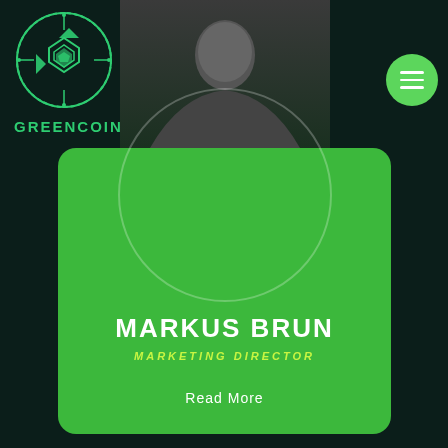[Figure (logo): GreenCoin.AI circular logo with circuit board and arrow design in green on dark background]
GREENCOIN.AI
[Figure (photo): Portrait photo of Markus Brun against dark background]
MARKUS BRUN
MARKETING DIRECTOR
Read More